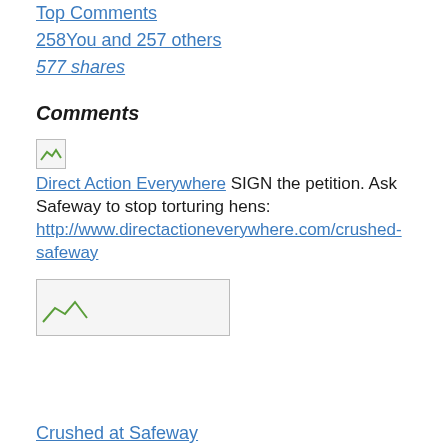Top Comments
258You and 257 others
577 shares
Comments
[Figure (photo): Small broken/placeholder profile image icon for Direct Action Everywhere]
Direct Action Everywhere SIGN the petition. Ask Safeway to stop torturing hens: http://www.directactioneverywhere.com/crushed-safeway
[Figure (photo): Large broken/placeholder image thumbnail, wider than tall]
Crushed at Safeway